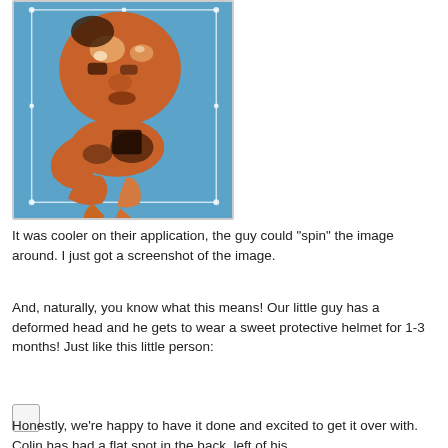[Figure (screenshot): 3D rendered scan of a baby's head and upper body shown against a blue background, with white bounding box lines around the model. The scan shows the face, head, and partial torso in an orange/brown color rendering.]
It was cooler on their application, the guy could "spin" the image around. I just got a screenshot of the image.
And, naturally, you know what this means! Our little guy has a deformed head and he gets to wear a sweet protective helmet for 1-3 months! Just like this little person:
[Figure (other): Small checkbox or image placeholder (partially visible)]
Honestly, we're happy to have it done and excited to get it over with. Colin has had a flat spot in the back, left of his